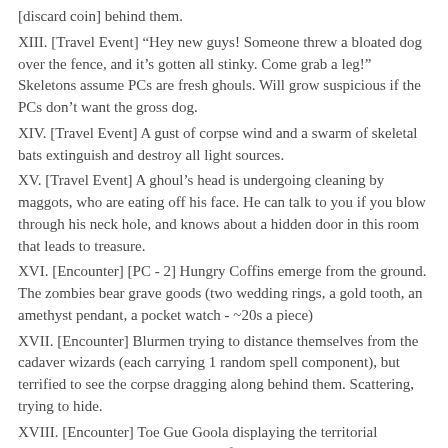[discard coin] behind them.
XIII. [Travel Event] “Hey new guys! Someone threw a bloated dog over the fence, and it’s gotten all stinky. Come grab a leg!” Skeletons assume PCs are fresh ghouls. Will grow suspicious if the PCs don’t want the gross dog.
XIV. [Travel Event] A gust of corpse wind and a swarm of skeletal bats extinguish and destroy all light sources.
XV. [Travel Event] A ghoul’s head is undergoing cleaning by maggots, who are eating off his face. He can talk to you if you blow through his neck hole, and knows about a hidden door in this room that leads to treasure.
XVI. [Encounter] [PC - 2] Hungry Coffins emerge from the ground. The zombies bear grave goods (two wedding rings, a gold tooth, an amethyst pendant, a pocket watch - ~20s a piece)
XVII. [Encounter] Blurmen trying to distance themselves from the cadaver wizards (each carrying 1 random spell component), but terrified to see the corpse dragging along behind them. Scattering, trying to hide.
XVIII. [Encounter] Toe Gue Goola displaying the territorial aggression display; absolutely terrifying.
XIX. [Encounter] Phantoms weeping around a kingly corpse. The corpse has 500sp of jewelry and a cursed shield shaped like a woman’s face.